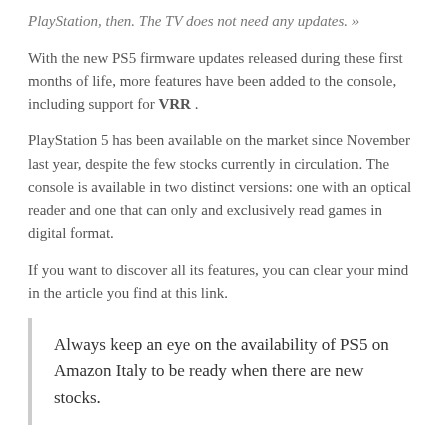PlayStation, then. The TV does not need any updates. »
With the new PS5 firmware updates released during these first months of life, more features have been added to the console, including support for VRR .
PlayStation 5 has been available on the market since November last year, despite the few stocks currently in circulation. The console is available in two distinct versions: one with an optical reader and one that can only and exclusively read games in digital format.
If you want to discover all its features, you can clear your mind in the article you find at this link.
Always keep an eye on the availability of PS5 on Amazon Italy to be ready when there are new stocks.